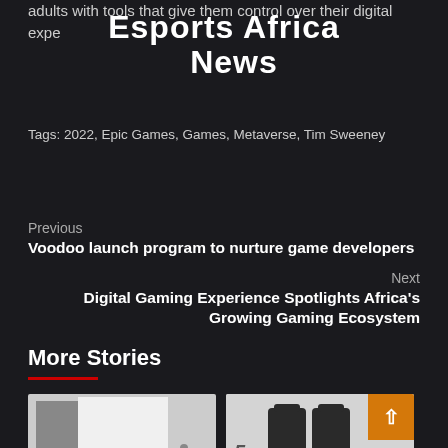adults with tools that give them control over their digital expe...
Esports Africa News
Tags: 2022, Epic Games, Games, Metaverse, Tim Sweeney
Previous
Voodoo launch program to nurture game developers
Next
Digital Gaming Experience Spotlights Africa's Growing Gaming Ecosystem
More Stories
[Figure (photo): Gaming device or console on white/gray background]
[Figure (photo): PlayStation 5 consoles with orange overlay button]